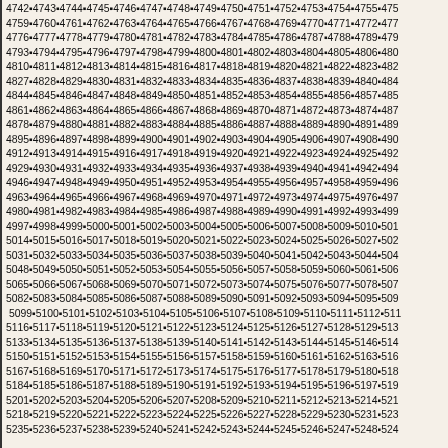Sequential number grid from 4742 to 5249, arranged in rows of approximately 17 numbers each, separated by small square separators.